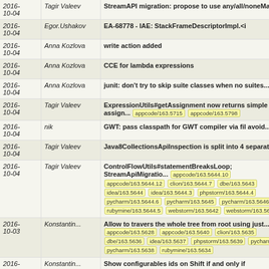| Date | Author | Message |
| --- | --- | --- |
| 2016-10-04 | Tagir Valeev | StreamAPI migration: propose to use any/all/noneMatch... |
| 2016-10-04 | Egor.Ushakov | EA-68778 - IAE: StackFrameDescriptorImpl.<i... |
| 2016-10-04 | Anna Kozlova | write action added |
| 2016-10-04 | Anna Kozlova | CCE for lambda expressions |
| 2016-10-04 | Anna Kozlova | junit: don't try to skip suite classes when no suites... |
| 2016-10-04 | Tagir Valeev | ExpressionUtils#getAssignment now returns simple assign... [appcode/163.5715] [appcode/163.5798] |
| 2016-10-04 | nik | GWT: pass classpath for GWT compiler via fil avoid... |
| 2016-10-04 | Tagir Valeev | Java8CollectionsApiInspection is split into 4 separate... |
| 2016-10-04 | Tagir Valeev | ControlFlowUtils#statementBreaksLoop; StreamApiMigratio... [appcode/163.5644.10] [appcode/163.5644.12] [clion/163.5644.7] [dbe/163.5643] [idea/163.5644] [idea/163.5644.3] [phpstorm/163.5644.4] [pycharm/163.5644.6] [pycharm/163.5645] [pycharm/163.5646] [rubymine/163.5644.5] [webstorm/163.5642] [webstorm/163.5644...] |
| 2016-10-03 | Konstantin... | Allow to travers the whole tree from root using just... [appcode/163.5628] [appcode/163.5640] [clion/163.5635] [dbe/163.5636] [idea/163.5637] [phpstorm/163.5639] [pycharm/1...] [pycharm/163.5638] [rubymine/163.5634] |
| 2016- | Konstantin... | Show configurables ids on Shift if and only if... |